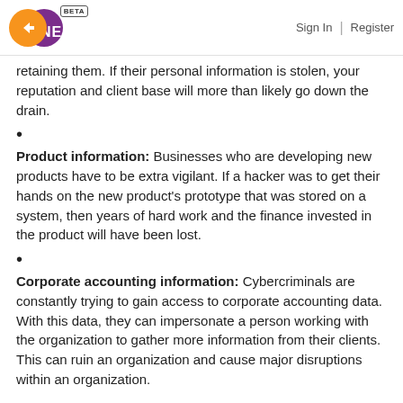FINDNERD BETA | Sign In | Register
retaining them. If their personal information is stolen, your reputation and client base will more than likely go down the drain.
Product information: Businesses who are developing new products have to be extra vigilant. If a hacker was to get their hands on the new product's prototype that was stored on a system, then years of hard work and the finance invested in the product will have been lost.
Corporate accounting information: Cybercriminals are constantly trying to gain access to corporate accounting data. With this data, they can impersonate a person working with the organization to gather more information from their clients. This can ruin an organization and cause major disruptions within an organization.
But it's not always data that motivates these criminals. Sometimes they look to take control of the company's network and attack the network with malicious software.